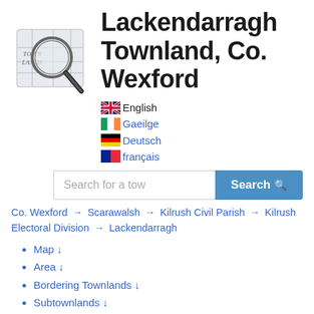[Figure (logo): Townlands logo: magnifying glass over a map with text TOWN LANDS]
Lackendarragh Townland, Co. Wexford
🇬🇧 English
🇮🇪 Gaeilge
🇩🇪 Deutsch
🇫🇷 français
Search for a tow  [Search button]
Co. Wexford → Scarawalsh → Kilrush Civil Parish → Kilrush Electoral Division → Lackendarragh
Map ↓
Area ↓
Bordering Townlands ↓
Subtownlands ↓
Records Search ↓